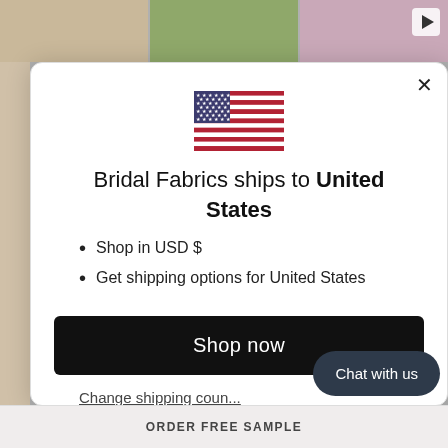[Figure (screenshot): Top strip of thumbnail images: fabric/lace, woman in field, pink fabric with video play button]
[Figure (illustration): American flag emoji/icon displayed in modal dialog]
Bridal Fabrics ships to United States
Shop in USD $
Get shipping options for United States
Shop now
Change shipping coun...
Chat with us
ORDER FREE SAMPLE